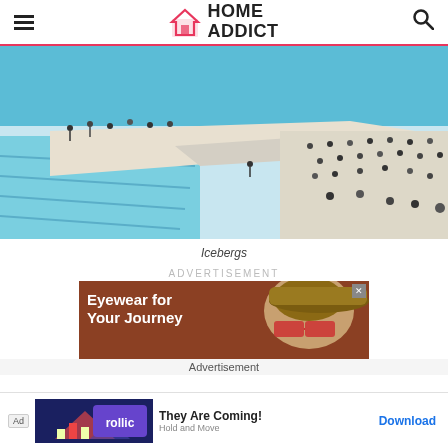HOME ADDICT
[Figure (photo): Aerial view of Icebergs pool at Bondi Beach with people standing around the pool edges, turquoise water, and ocean waves in the background]
Icebergs
ADVERTISEMENT
[Figure (photo): Advertisement banner: Eyewear for Your Journey - showing two people wearing sunglasses on a brown/terracotta background]
Advertisement
[Figure (photo): Bottom advertisement bar: Rollic game app ad with 'They Are Coming!' text and Download button]